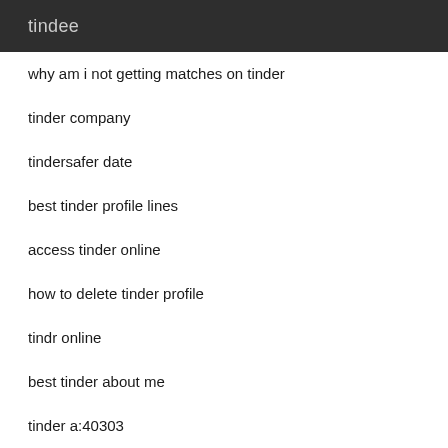tindee
why am i not getting matches on tinder
tinder company
tindersafer date
best tinder profile lines
access tinder online
how to delete tinder profile
tindr online
best tinder about me
tinder a:40303
what to do when your crush likes your friend
cancel tinder plus subscription